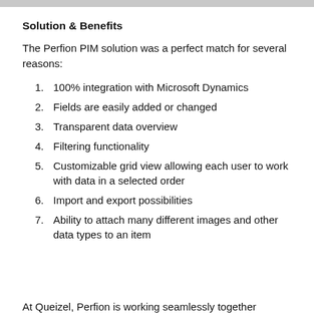Solution & Benefits
The Perfion PIM solution was a perfect match for several reasons:
100% integration with Microsoft Dynamics
Fields are easily added or changed
Transparent data overview
Filtering functionality
Customizable grid view allowing each user to work with data in a selected order
Import and export possibilities
Ability to attach many different images and other data types to an item
At Queizel, Perfion is working seamlessly together